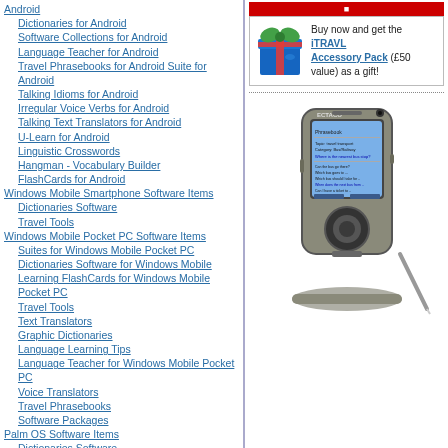Android
Dictionaries for Android
Software Collections for Android
Language Teacher for Android
Travel Phrasebooks for Android Suite for Android
Talking Idioms for Android
Irregular Voice Verbs for Android
Talking Text Translators for Android
U-Learn for Android
Linguistic Crosswords
Hangman - Vocabulary Builder
FlashCards for Android
Windows Mobile Smartphone Software Items
Dictionaries Software
Travel Tools
Windows Mobile Pocket PC Software Items
Suites for Windows Mobile Pocket PC
Dictionaries Software for Windows Mobile
Learning FlashCards for Windows Mobile Pocket PC
Travel Tools
Text Translators
Graphic Dictionaries
Language Learning Tips
Language Teacher for Windows Mobile Pocket PC
Voice Translators
Travel Phrasebooks
Software Packages
Palm OS Software Items
Dictionaries Software
Language Learning Tips
Learning FlashCards
Software Packages
Symbian Software Items
Nokia Software Items
[Figure (illustration): Gift box advertisement for iTRAVL Accessory Pack (£50 value)]
Buy now and get the iTRAVL Accessory Pack (£50 value) as a gift!
[Figure (photo): ECTACO electronic handheld device/phrasebook]